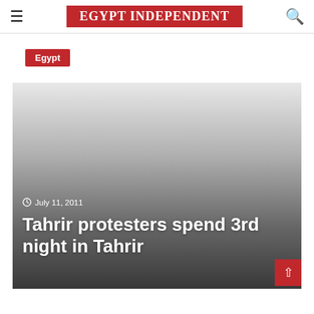EGYPT INDEPENDENT
Egypt
[Figure (photo): Hero image with dark gradient overlay, showing a faded gray-to-dark background representing a news photo.]
July 11, 2011
Tahrir protesters spend 3rd night in Tahrir